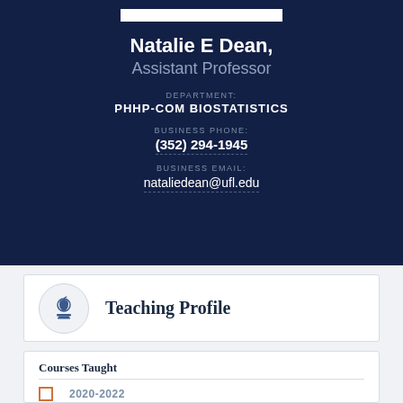Natalie E Dean,
Assistant Professor
DEPARTMENT:
PHHP-COM BIOSTATISTICS
BUSINESS PHONE:
(352) 294-1945
BUSINESS EMAIL:
nataliedean@ufl.edu
Teaching Profile
Courses Taught
2020-2022